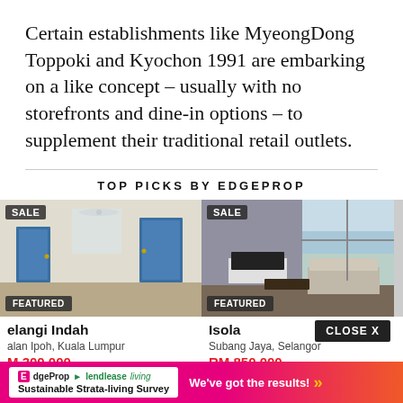Certain establishments like MyeongDong Toppoki and Kyochon 1991 are embarking on a like concept – usually with no storefronts and dine-in options – to supplement their traditional retail outlets.
TOP PICKS BY EDGEPROP
[Figure (photo): Two property listing photos side by side: left shows an empty room with blue doors (SALE, FEATURED badges), right shows a furnished living room with view (SALE, FEATURED badges).]
elangi Indah
Isola
alan Ipoh, Kuala Lumpur
Subang Jaya, Selangor
M 300,000
RM 850,000
CLOSE X
[Figure (infographic): EdgeProp and lendlease living Sustainable Strata-living Survey banner ad: 'We've got the results!']